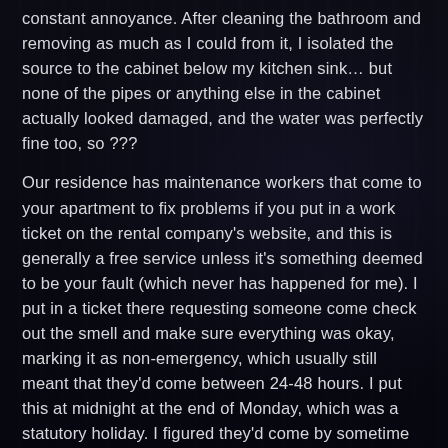constant annoyance. After cleaning the bathroom and removing as much as I could from it, I isolated the source to the cabinet below my kitchen sink… but none of the pipes or anything else in the cabinet actually looked damaged, and the water was perfectly fine too, so ???
Our residence has maintenance workers that come to your apartment to fix problems if you put in a work ticket on the rental company's website, and this is generally a free service unless it's something deemed to be your fault (which never has happened for me). I put in a ticket there requesting someone come check out the smell and make sure everything was okay, marking it as non-emergency, which usually still meant that they'd come between 24-48 hours. I put this at midnight at the end of Monday, which was a statutory holiday. I figured they'd come by sometime on Tuesday, but the